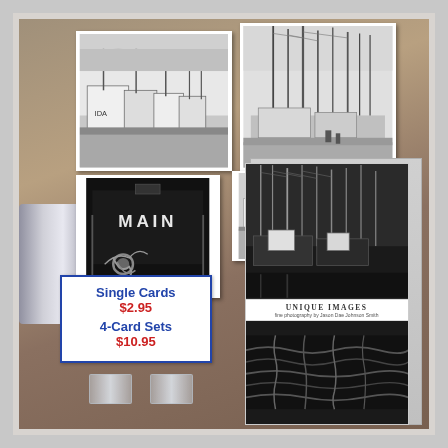[Figure (photo): Retail display of black-and-white photo greeting cards showing fishing boats and harbor scenes. A price sign reads 'Single Cards $2.95 / 4-Card Sets $10.95'. Cards are displayed on a wooden table with a 'UNIQUE IMAGES' branded card pack on the right. Individual loose cards show fishing boat harbor photographs, one card shows the stern of a boat labeled 'MAIN' with rope.]